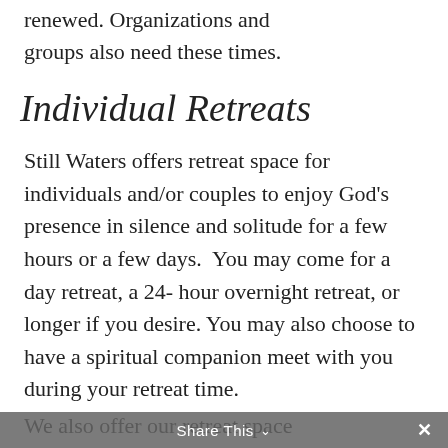renewed. Organizations and groups also need these times.
Individual Retreats
Still Waters offers retreat space for individuals and/or couples to enjoy God's presence in silence and solitude for a few hours or a few days.  You may come for a day retreat, a 24-hour overnight retreat, or longer if you desire. You may also choose to have a spiritual companion meet with you during your retreat time.
We also offer our retreat space
Share This ∨  ✕